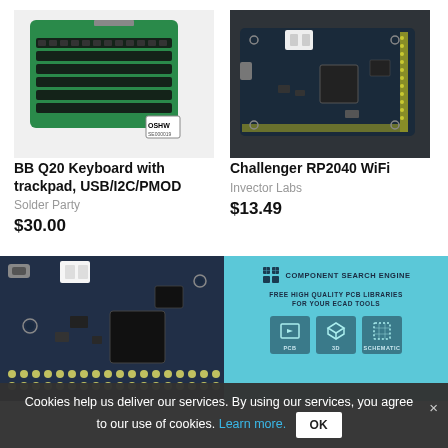[Figure (photo): BB Q20 keyboard module with QWERTY keys and OSHW logo on green PCB]
BB Q20 Keyboard with trackpad, USB/I2C/PMOD
Solder Party
$30.00
[Figure (photo): Challenger RP2040 WiFi microcontroller board on dark background]
Challenger RP2040 WiFi
Invector Labs
$13.49
[Figure (photo): Close-up of a PCB circuit board with components]
[Figure (infographic): Component Search Engine ad: Free High Quality PCB Libraries for your ECAD Tools with PCB, 3D, Schematic icons]
Cookies help us deliver our services. By using our services, you agree to our use of cookies. Learn more. OK